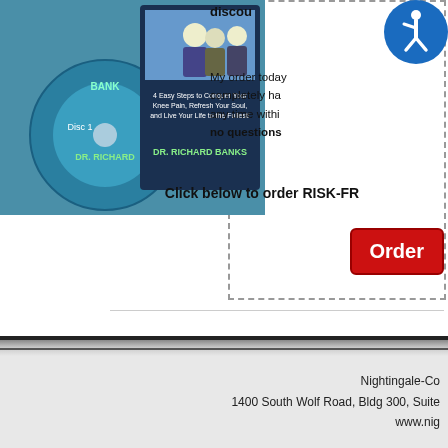[Figure (photo): Product image showing a DVD disc and a book/DVD case for 'DR. RICHARD BANKS' titled '4 Easy Steps to Conquer Your Knee Pain, Refresh Your Soul, and Live Your Life to the Fullest!']
[Figure (logo): Accessibility icon - blue circle with white wheelchair user symbol]
discount
My order today is completely ha... any time within... no questions
Click below to order RISK-FR...
Order
Nightingale-Co... 1400 South Wolf Road, Bldg 300, Suite... www.nig...